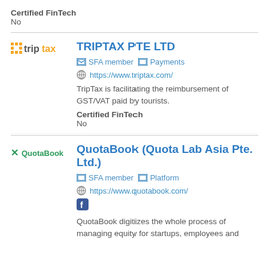Certified FinTech
No
TRIPTAX PTE LTD
SFA member  Payments
https://www.triptax.com/
TripTax is facilitating the reimbursement of GST/VAT paid by tourists.
Certified FinTech
No
QuotaBook (Quota Lab Asia Pte. Ltd.)
SFA member  Platform
https://www.quotabook.com/
QuotaBook digitizes the whole process of managing equity for startups, employees and